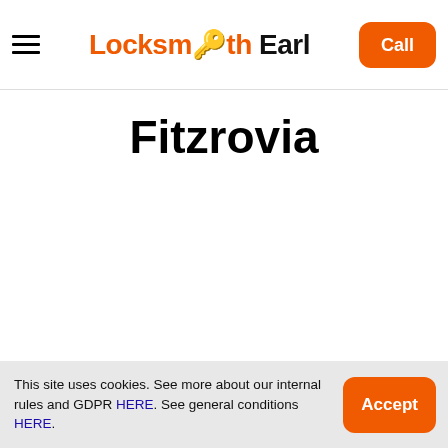Locksmith Earl — Call
Fitzrovia
This site uses cookies. See more about our internal rules and GDPR HERE. See general conditions HERE.